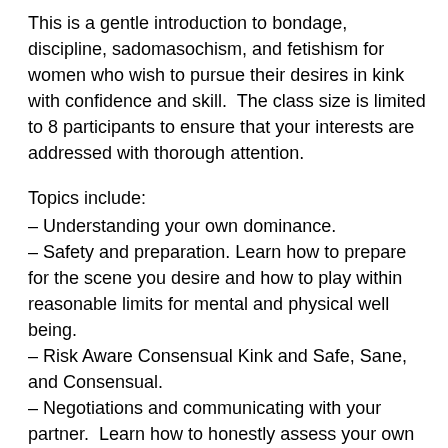This is a gentle introduction to bondage, discipline, sadomasochism, and fetishism for women who wish to pursue their desires in kink with confidence and skill. The class size is limited to 8 participants to ensure that your interests are addressed with thorough attention.
Topics include:
– Understanding your own dominance.
– Safety and preparation. Learn how to prepare for the scene you desire and how to play within reasonable limits for mental and physical well being.
– Risk Aware Consensual Kink and Safe, Sane, and Consensual.
– Negotiations and communicating with your partner. Learn how to honestly assess your own and your partner's desires for mutual fulfillment, as well as to stay connected throughout the scene.
– Basics of safe bondage and light SM: simple rope